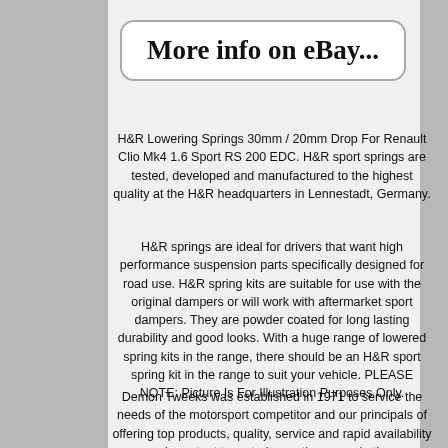More info on eBay...
H&R Lowering Springs 30mm / 20mm Drop For Renault Clio Mk4 1.6 Sport RS 200 EDC. H&R sport springs are tested, developed and manufactured to the highest quality at the H&R headquarters in Lennestadt, Germany.
H&R springs are ideal for drivers that want high performance suspension parts specifically designed for road use. H&R spring kits are suitable for use with the original dampers or will work with aftermarket sport dampers. They are powder coated for long lasting durability and good looks. With a huge range of lowered spring kits in the range, there should be an H&R sport spring kit in the range to suit your vehicle. PLEASE NOTE: Picture Is For Illustration Purposes Only.
Demon Tweeks was established in 1971 to service the needs of the motorsport competitor and our principals of offering top products, quality, service and rapid availability are as important to us today as they were in the very beginning. We are leaders in the supply of race wear, competition and road tuning parts for cars and bikes.
Within a staff totalling over 140 is a dedicated sales team servicing upwards of 3000 telephone, fax and online enquiries received every day from the UK and the rest of the world. Our impressive 140,000